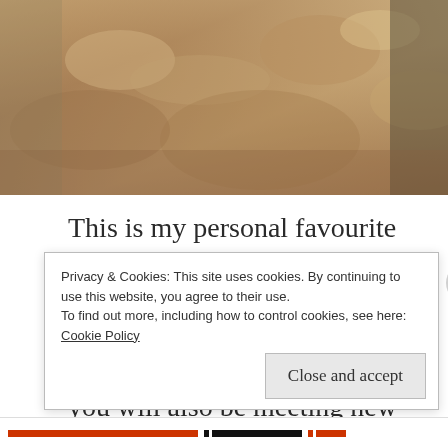[Figure (photo): Close-up photo of hands engaged in a craft or hobby activity, warm tones]
This is my personal favourite among the others on the list.Hobby classes are fun and de-stressing.Not only will you be doing something new ,but you will also be meeting new interesting people.Did I emphasize on interesting?
Privacy & Cookies: This site uses cookies. By continuing to use this website, you agree to their use.
To find out more, including how to control cookies, see here:
Cookie Policy
Close and accept